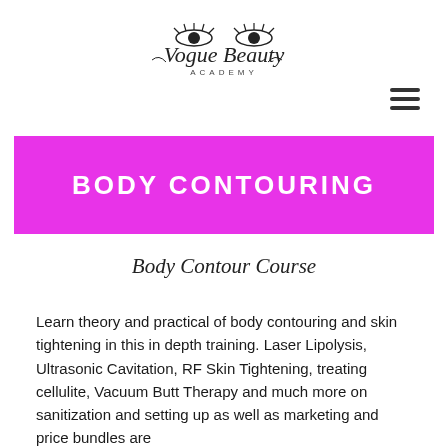[Figure (logo): Vogue Beauty Academy logo with stylized eyes and cursive script text]
[Figure (other): Hamburger menu icon with three horizontal lines]
BODY CONTOURING
Body Contour Course
Learn theory and practical of body contouring and skin tightening in this in depth training. Laser Lipolysis, Ultrasonic Cavitation, RF Skin Tightening, treating cellulite, Vacuum Butt Therapy and much more on sanitization and setting up as well as marketing and price bundles are